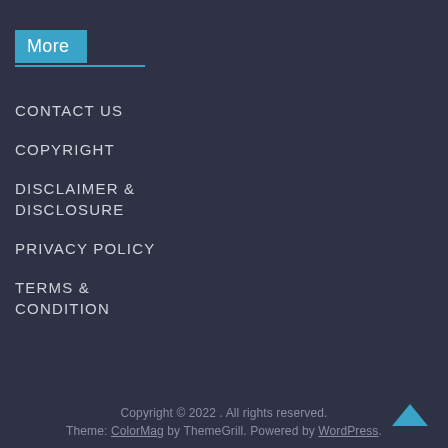More
CONTACT US
COPYRIGHT
DISCLAIMER & DISCLOSURE
PRIVACY POLICY
TERMS & CONDITION
Copyright © 2022 . All rights reserved. Theme: ColorMag by ThemeGrill. Powered by WordPress.